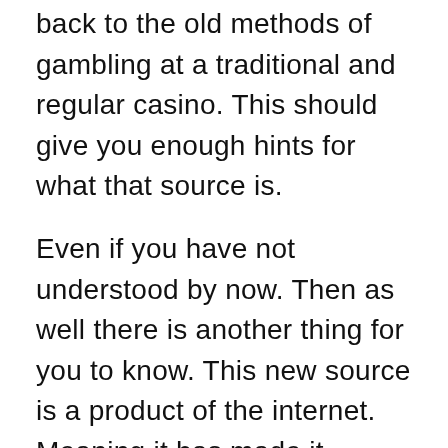back to the old methods of gambling at a traditional and regular casino. This should give you enough hints for what that source is.
Even if you have not understood by now. Then as well there is another thing for you to know. This new source is a product of the internet. Meaning it has made it possible for people to gamble and bet easily. Now I think you know what I am talking about. Yes, the source I am speaking of is the online casino and online slots. It has been a massive success lately. It has been able to provide really impressive stuff to people. And everyone is enjoying it. It is something new for people as for that matter. This is kind of why people are liking it so much. You can try